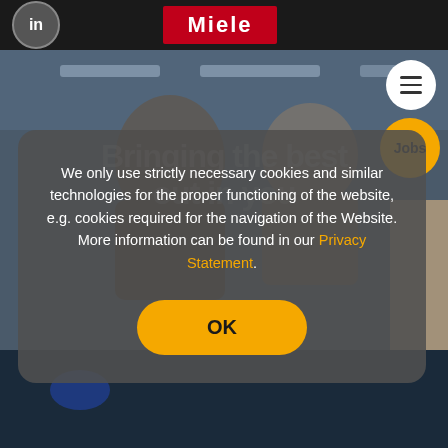[Figure (screenshot): Miele careers website screenshot with LinkedIn icon top-left, Miele red logo top-center, hamburger menu and Jobs button top-right, background photo of people in an office/workplace setting]
We only use strictly necessary cookies and similar technologies for the proper functioning of the website, e.g. cookies required for the navigation of the Website. More information can be found in our Privacy Statement.
OK